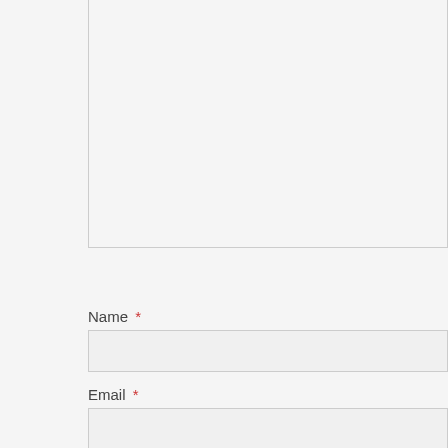[Figure (screenshot): Textarea input box for comment, partially visible at top of page]
Name *
[Figure (screenshot): Name text input field]
Email *
[Figure (screenshot): Email text input field]
Website
Privacy & Cookies: This site uses cookies. By continuing to use this website, you agree to their use.
To find out more, including how to control cookies, see here: Cookie Policy
Close and accept